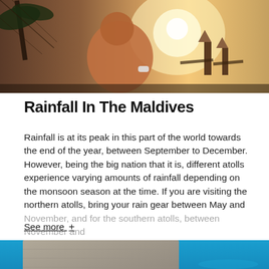[Figure (photo): Top image showing a person on a sunlit tropical beach with palm trees and beach chairs in warm golden light.]
Rainfall In The Maldives
Rainfall is at its peak in this part of the world towards the end of the year, between September to December. However, being the big nation that it is, different atolls experience varying amounts of rainfall depending on the monsoon season at the time. If you are visiting the northern atolls, bring your rain gear between May and November, and for the southern atolls, between November and
See more +
[Figure (photo): Bottom image showing an aerial or close-up view of a deck/jetty over turquoise blue water in the Maldives.]